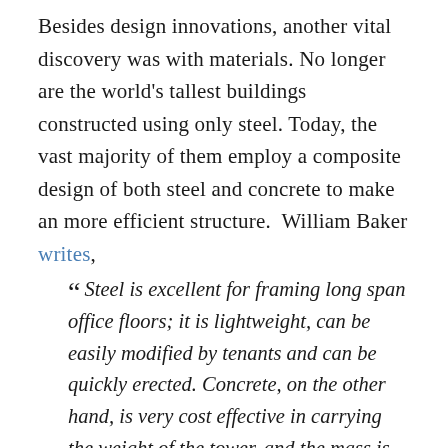Besides design innovations, another vital discovery was with materials. No longer are the world's tallest buildings constructed using only steel. Today, the vast majority of them employ a composite design of both steel and concrete to make an more efficient structure.  William Baker writes,
“ Steel is excellent for framing long span office floors; it is lightweight, can be easily modified by tenants and can be quickly erected. Concrete, on the other hand, is very cost effective in carrying the weight of the tower, and the mass is beneficial in reducing building motions